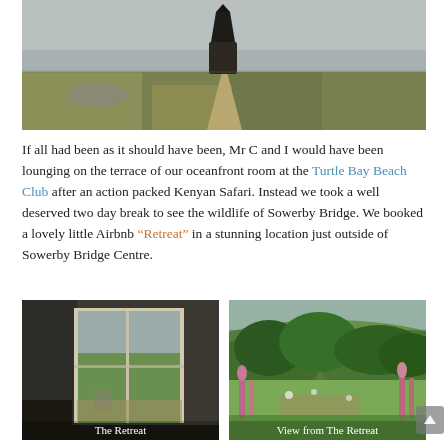[Figure (photo): A dark stone obelisk monument atop a grassy moorland hill, with a narrow dirt path leading up to it under a grey overcast sky.]
If all had been as it should have been, Mr C and I would have been lounging on the terrace of our oceanfront room at the Turtle Bay Beach Club after an action packed Kenyan Safari. Instead we took a well deserved two day break to see the wildlife of Sowerby Bridge. We booked a lovely little Airbnb "Retreat" in a stunning location just outside of Sowerby Bridge Centre.
[Figure (photo): Interior view of a retreat room with open French doors looking out onto a lush green garden and patio area under a cloudy sky. Caption: The Retreat]
[Figure (photo): View from The Retreat showing a garden with wildflowers and tall foxgloves in the foreground, with rolling green hills and woodland in the background. Caption: View from The Retreat]